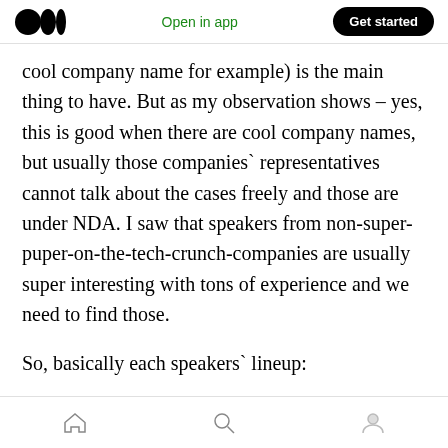Open in app | Get started
cool company name for example) is the main thing to have. But as my observation shows – yes, this is good when there are cool company names, but usually those companies` representatives cannot talk about the cases freely and those are under NDA. I saw that speakers from non-super-puper-on-the-tech-crunch-companies are usually super interesting with tons of experience and we need to find those.
So, basically each speakers` lineup:
Must have at least one headliner with a good
home | search | profile